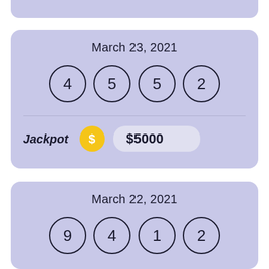[Figure (other): Partial lottery card visible at top of page, cut off]
March 23, 2021
4  5  5  2
Jackpot  $5000
March 22, 2021
9  4  1  2